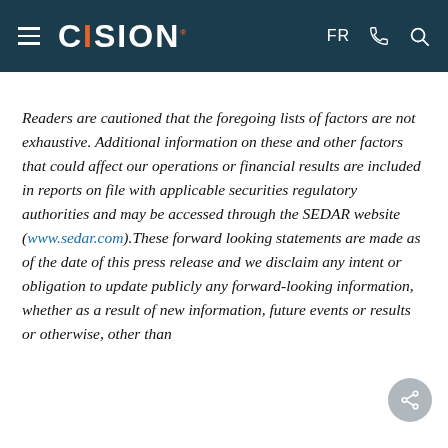CISION — FR
Readers are cautioned that the foregoing lists of factors are not exhaustive. Additional information on these and other factors that could affect our operations or financial results are included in reports on file with applicable securities regulatory authorities and may be accessed through the SEDAR website (www.sedar.com).These forward looking statements are made as of the date of this press release and we disclaim any intent or obligation to update publicly any forward-looking information, whether as a result of new information, future events or results or otherwise, other than as required by applicable securities legislation.